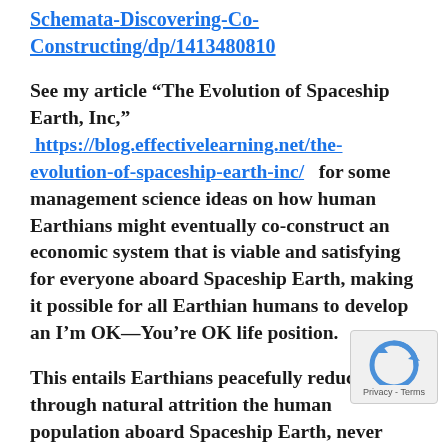Schemata-Discovering-Co-Constructing/dp/1413480810
See my article “The Evolution of Spaceship Earth, Inc,” https://blog.effectivelearning.net/the-evolution-of-spaceship-earth-inc/ for some management science ideas on how human Earthians might eventually co-construct an economic system that is viable and satisfying for everyone aboard Spaceship Earth, making it possible for all Earthian humans to develop an I’m OK—You’re OK life position.
This entails Earthians peacefully reducing through natural attrition the human population aboard Spaceship Earth, never